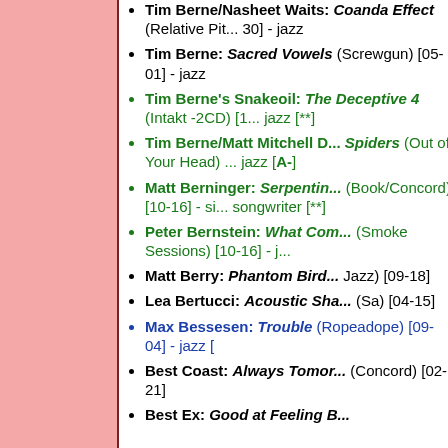Tim Berne/Nasheet Waits: Coanda Effect (Relative Pi... 30] - jazz
Tim Berne: Sacred Vowels (Screwgun) [05-01] - jazz
Tim Berne's Snakeoil: The Deceptive 4 (Intakt -2CD) [... jazz [**]
Tim Berne/Matt Mitchell D... Spiders (Out of Your Head) ... jazz [A-]
Matt Berninger: Serpentin... (Book/Concord) [10-16] - si... songwriter [**]
Peter Bernstein: What Com... (Smoke Sessions) [10-16] - j...
Matt Berry: Phantom Bird... Jazz) [09-18]
Lea Bertucci: Acoustic Sha... (Sa) [04-15]
Max Bessesen: Trouble (Ropeadope) [09-04] - jazz [
Best Coast: Always Tomor... (Concord) [02-21]
Best Ex: Good at Feeling B...